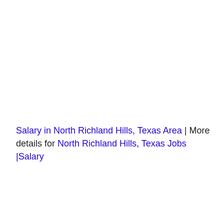Salary in North Richland Hills, Texas Area | More details for North Richland Hills, Texas Jobs |Salary